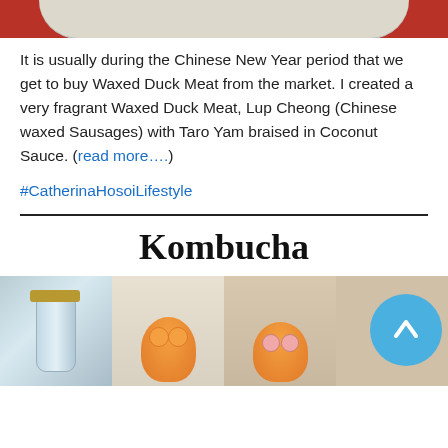[Figure (photo): Top portion of a food/dish photo on a red background, showing bottom edge of a white plate]
It is usually during the Chinese New Year period that we get to buy Waxed Duck Meat from the market. I created a very fragrant Waxed Duck Meat, Lup Cheong (Chinese waxed Sausages) with Taro Yam braised in Coconut Sauce. (read more....)
#CatherinaHosoiLifestyle
Kombucha
[Figure (photo): Four photos showing kombucha-related items: a glass jar with gold lid, two figurines of a cartoon lion/animal character, and a scroll-up button circle]